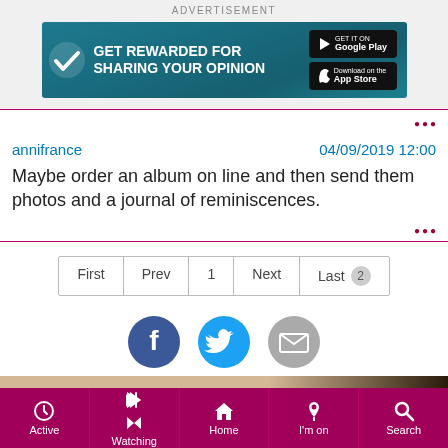ADVERTISEMENT
[Figure (screenshot): Advertisement banner: GET REWARDED FOR SHARING YOUR OPINION with Google Play and App Store badges on teal/dark background]
annifrance	04/09/2019 12:00
Maybe order an album on line and then send them photos and a journal of reminiscences.
First  Prev  1  Next  Last 2
[Figure (infographic): Social sharing icons: Facebook (dark blue), Twitter (light blue), Email (grey)]
[Figure (photo): Partial photo strip at bottom of content area]
Active  Watching  Home  I'm on  Search